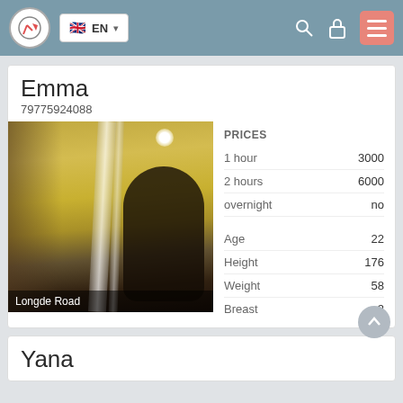EN (navigation bar with language selector, search, lock, and menu icons)
Emma
79775924088
[Figure (photo): Photo of a woman in a room with yellow walls, taken from a low angle. Text overlay reads 'Longde Road'.]
|  |  |
| --- | --- |
| PRICES |  |
| 1 hour | 3000 |
| 2 hours | 6000 |
| overnight | no |
| Age | 22 |
| Height | 176 |
| Weight | 58 |
| Breast | 3 |
Yana